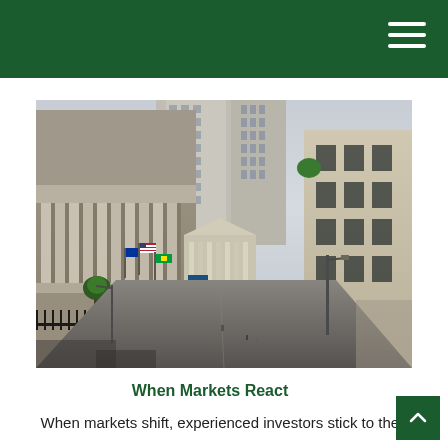[Figure (photo): Street-level view of Wall Street with the New York Stock Exchange building on the left featuring large columns, tall skyscrapers in the background, Federal Hall with columns at the end of the street, flags including US, EU, and Brazilian flags on the NYSE building, street lamps, iron fence, and small trees along the sidewalk.]
When Markets React
When markets shift, experienced investors stick to their